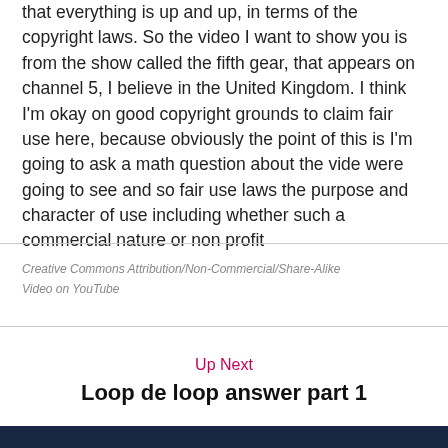that everything is up and up, in terms of the copyright laws. So the video I want to show you is from the show called the fifth gear, that appears on channel 5, I believe in the United Kingdom. I think I'm okay on good copyright grounds to claim fair use here, because obviously the point of this is I'm going to ask a math question about the vide were going to see and so fair use laws the purpose and character of use including whether such a commercial nature or non profit
Creative Commons Attribution/Non-Commercial/Share-Alike
Video on YouTube
Up Next
Loop de loop answer part 1